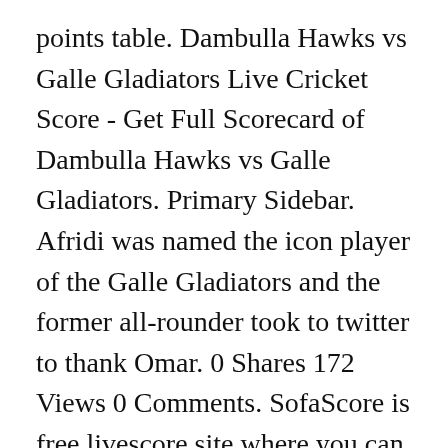points table. Dambulla Hawks vs Galle Gladiators Live Cricket Score - Get Full Scorecard of Dambulla Hawks vs Galle Gladiators. Primary Sidebar. Afridi was named the icon player of the Galle Gladiators and the former all-rounder took to twitter to thank Omar. 0 Shares 172 Views 0 Comments. SofaScore is free livescore site where you can follow real-time live scores, fixtures and results over 20 sports. Lanka Premier League 2020: Shahid Afridi, former Pakistan all-rounder, missed his flight to Sri Lanka and he is likely to miss his team Galle Gladiators' first game. 12th Match, LPL 2020, Dambulla Viiking vs Galle Gladiators, DVK vs GGD, Lanka Premier League 2020, Dream 11 Tips, Pitch Report, Series Card